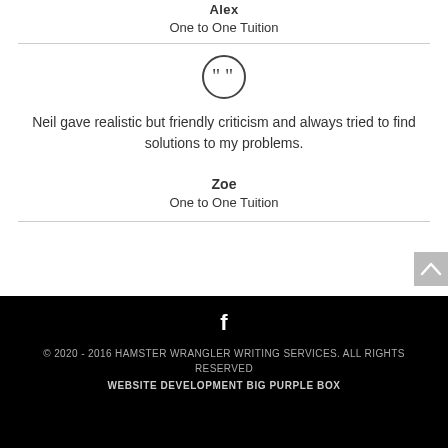Alex
One to One Tuition
[Figure (illustration): Quotation mark icon — double closing quotes inside a circle]
Neil gave realistic but friendly criticism and always tried to find solutions to my problems.
Zoe
One to One Tuition
© 2020 - 2016 HAMSTER WRANGLER WRITING SERVICES. ALL RIGHTS RESERVED
WEBSITE DEVELOPMENT BIG PURPLE BOX